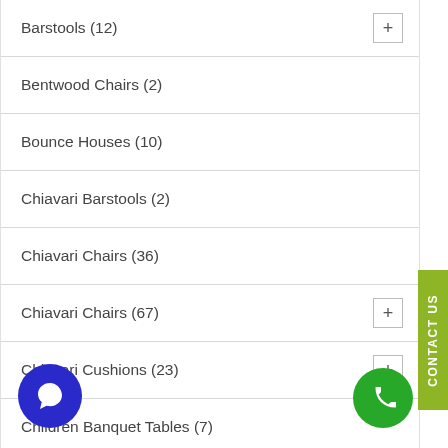Barstools (12)
Bentwood Chairs (2)
Bounce Houses (10)
Chiavari Barstools (2)
Chiavari Chairs (36)
Chiavari Chairs (67)
Chiavari Cushions (23)
Children Banquet Tables (7)
Children Chairs (9)
Children's Furniture (14)
Crossback Chairs (17)
llies & Carts (9)
ent Accessories (24)